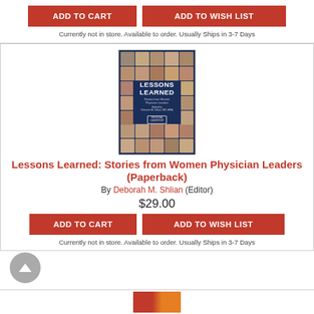ADD TO CART
ADD TO WISH LIST
Currently not in store. Available to order. Usually Ships in 3-7 Days
[Figure (photo): Book cover of 'Lessons Learned: Stories from Women Physician Leaders' showing a grid of headshots of women physicians on a dark navy background]
Lessons Learned: Stories from Women Physician Leaders (Paperback)
By Deborah M. Shlian (Editor)
$29.00
ADD TO CART
ADD TO WISH LIST
Currently not in store. Available to order. Usually Ships in 3-7 Days